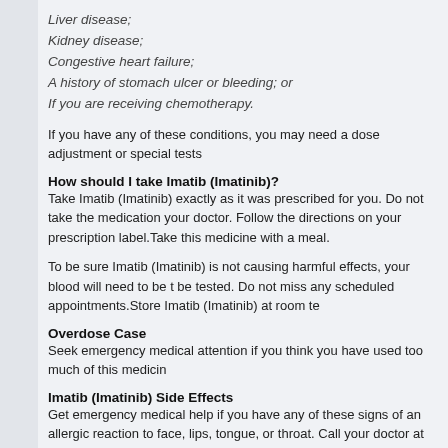Liver disease;
Kidney disease;
Congestive heart failure;
A history of stomach ulcer or bleeding; or
If you are receiving chemotherapy.
If you have any of these conditions, you may need a dose adjustment or special tests
How should I take Imatib (Imatinib)?
Take Imatib (Imatinib) exactly as it was prescribed for you. Do not take the medication your doctor. Follow the directions on your prescription label.Take this medicine with a meal.
To be sure Imatib (Imatinib) is not causing harmful effects, your blood will need to be t be tested. Do not miss any scheduled appointments.Store Imatib (Imatinib) at room te
Overdose Case
Seek emergency medical attention if you think you have used too much of this medicin
Imatib (Imatinib) Side Effects
Get emergency medical help if you have any of these signs of an allergic reaction to face, lips, tongue, or throat. Call your doctor at once if you have any of these serious s
Fever, sore throat, and headache with a severe blistering, peeling, and red skin rash
Nausea, stomach pain, low fever, loss of appetite, dark urine, clay-colored stools, jaur
Fever, chills, body aches, flu symptoms;
Black, bloody, or tarry stools;